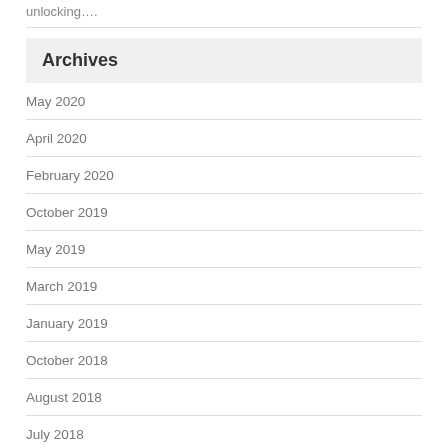unlocking….
Archives
May 2020
April 2020
February 2020
October 2019
May 2019
March 2019
January 2019
October 2018
August 2018
July 2018
June 2018